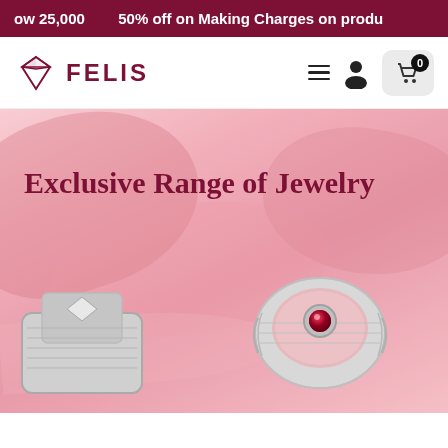ow 25,000   50% off on Making Charges on produ
[Figure (logo): FELIS jewelry brand logo with a diamond gem icon and the text FELIS in dark red/maroon]
Exclusive Range of Jewelry
[Figure (photo): Two ornate jewelry rings on a soft pink floral background. Left ring is silver/white with diamond patterns; right ring is silver with a pink glitter surface and a red gemstone center.]